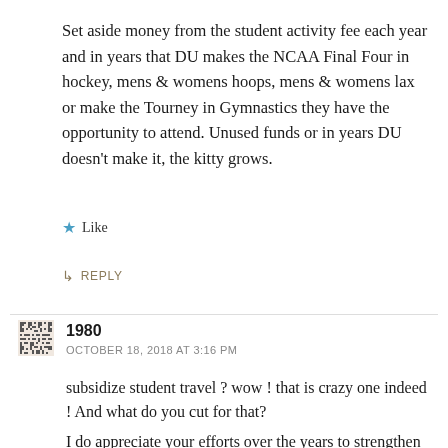Set aside money from the student activity fee each year and in years that DU makes the NCAA Final Four in hockey, mens & womens hoops, mens & womens lax or make the Tourney in Gymnastics they have the opportunity to attend. Unused funds or in years DU doesn't make it, the kitty grows.
★ Like
↳ REPLY
1980
OCTOBER 18, 2018 AT 3:16 PM
subsidize student travel ? wow ! that is crazy one indeed ! And what do you cut for that?
I do appreciate your efforts over the years to strengthen